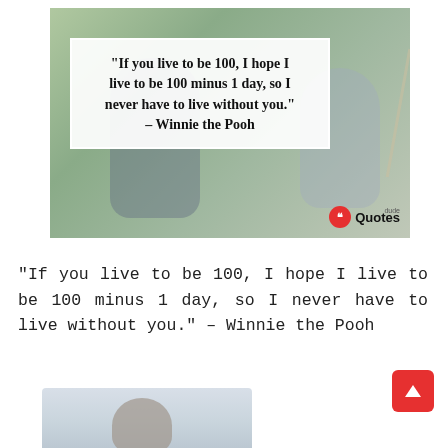[Figure (photo): A quote image card showing two people painting outdoors with a blurry green background. Overlaid is a white box with bold serif text of the Winnie the Pooh quote. Bottom right has a DudeQuotes watermark logo.]
“If you live to be 100, I hope I live to be 100 minus 1 day, so I never have to live without you.” – Winnie the Pooh
[Figure (photo): Partial bottom image showing the top of a person's head with a light blue/grey blurred background.]